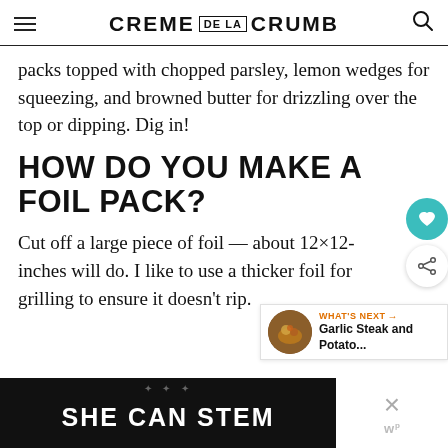CREME DE LA CRUMB
packs topped with chopped parsley, lemon wedges for squeezing, and browned butter for drizzling over the top or dipping. Dig in!
HOW DO YOU MAKE A FOIL PACK?
Cut off a large piece of foil — about 12×12-inches will do. I like to use a thicker foil for grilling to ensure it doesn't rip.
[Figure (other): What's Next widget showing Garlic Steak and Potato... with a circular food photo]
[Figure (other): Advertisement banner with dark background reading SHE CAN STEM with close button]
[Figure (other): Heart favorite button (teal circle) and share button (white circle with share icon)]